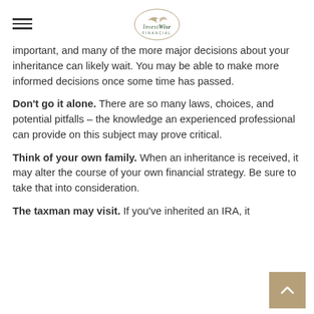InvestWise Financial logo and navigation
important, and many of the more major decisions about your inheritance can likely wait. You may be able to make more informed decisions once some time has passed.
Don't go it alone. There are so many laws, choices, and potential pitfalls – the knowledge an experienced professional can provide on this subject may prove critical.
Think of your own family. When an inheritance is received, it may alter the course of your own financial strategy. Be sure to take that into consideration.
The taxman may visit. If you've inherited an IRA, it